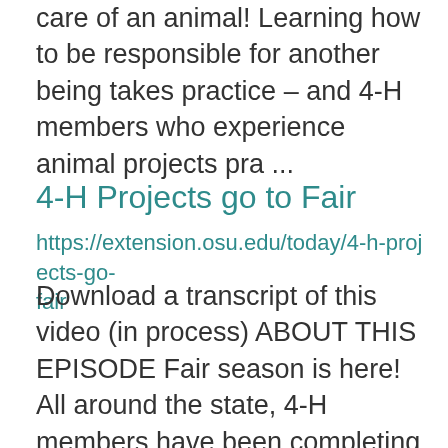care of an animal! Learning how to be responsible for another being takes practice – and 4-H members who experience animal projects pra ...
4-H Projects go to Fair
https://extension.osu.edu/today/4-h-projects-go-fair
Download a transcript of this video (in process) ABOUT THIS EPISODE Fair season is here! All around the state, 4-H members have been completing projects and getting ready for the county fair. They are “learning by doing” as they work with animals and a wi ...